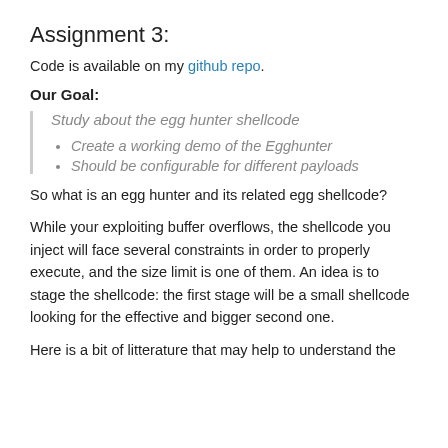Assignment 3:
Code is available on my github repo.
Our Goal:
Study about the egg hunter shellcode
Create a working demo of the Egghunter
Should be configurable for different payloads
So what is an egg hunter and its related egg shellcode?
While your exploiting buffer overflows, the shellcode you inject will face several constraints in order to properly execute, and the size limit is one of them. An idea is to stage the shellcode: the first stage will be a small shellcode looking for the effective and bigger second one.
Here is a bit of litterature that may help to understand the